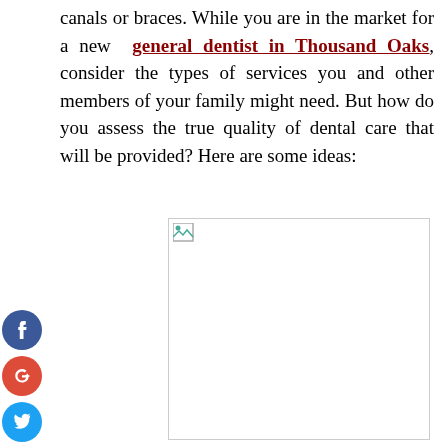canals or braces. While you are in the market for a new general dentist in Thousand Oaks, consider the types of services you and other members of your family might need. But how do you assess the true quality of dental care that will be provided? Here are some ideas:
[Figure (photo): A placeholder image (broken/missing image icon) with a light gray border, representing a dental-related photograph.]